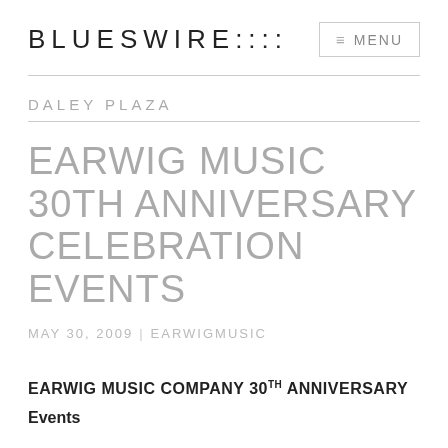BLUESWIRE::::
DALEY PLAZA
EARWIG MUSIC 30TH ANNIVERSARY CELEBRATION EVENTS
MAY 30, 2009 | EARWIGMUSIC
EARWIG MUSIC COMPANY 30TH ANNIVERSARY
Events